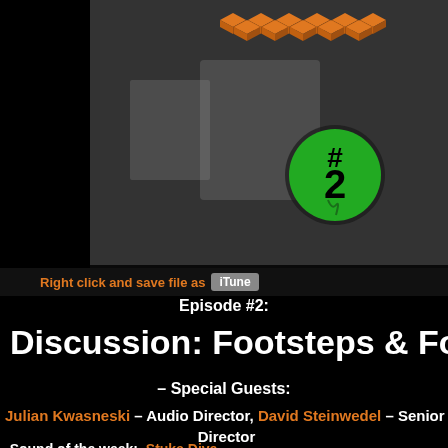[Figure (screenshot): Podcast episode header image showing orange cube logos, headphone/audio equipment background, and a green '#2' logo badge on dark background]
Right click and save file as   iTunes
Episode #2:
Discussion: Footsteps & Foley – D
– Special Guests:
Julian Kwasneski – Audio Director, David Steinwedel – Senior S Director
-Sound of the week:  Stuka Dive
"As a result, by the outbreak of World War II the Luftwaffe had 336